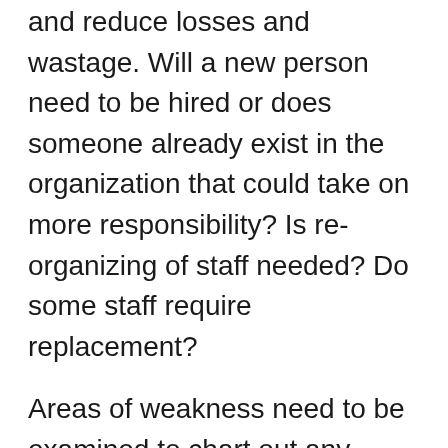and reduce losses and wastage. Will a new person need to be hired or does someone already exist in the organization that could take on more responsibility? Is re-organizing of staff needed? Do some staff require replacement?
Areas of weakness need to be examined to chart out any methods for improvement. Do systems need to be improved, or is it the team that is weak and needs improvement? Marketing needs to be improved to grow the clientele base, or a product that is not doing well needs to be relaunched or replaced.